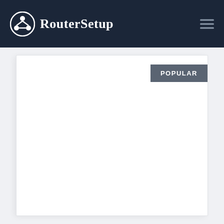RouterSetup
[Figure (screenshot): RouterSetup website card with POPULAR badge in gray on white card background]